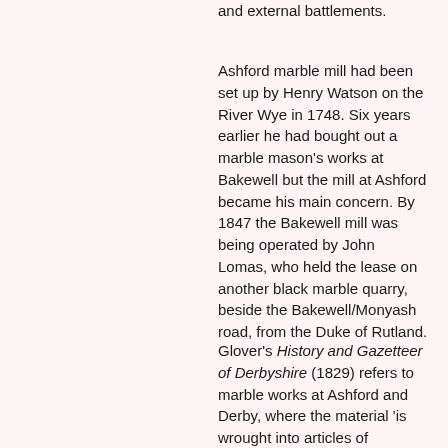and external battlements.
Ashford marble mill had been set up by Henry Watson on the River Wye in 1748. Six years earlier he had bought out a marble mason's works at Bakewell but the mill at Ashford became his main concern. By 1847 the Bakewell mill was being operated by John Lomas, who held the lease on another black marble quarry, beside the Bakewell/Monyash road, from the Duke of Rutland.
Glover's History and Gazetteer of Derbyshire (1829) refers to marble works at Ashford and Derby, where the material 'is wrought into articles of domestic elegance and into monuments, chimney pieces are sold at various